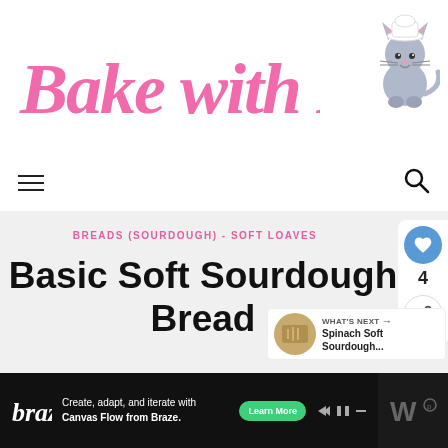[Figure (logo): Bake with Paws logo: pink cursive script text with a cartoon cat wearing a chef hat on the right]
[Figure (infographic): Navigation bar with hamburger menu icon on left and search magnifier icon on right]
BREADS (SOURDOUGH) - SOFT LOAVES
Basic Soft Sourdough Bread
[Figure (infographic): Social sidebar with heart/like button showing count 4, and share button]
[Figure (infographic): What's Next panel showing a circular thumbnail image and text: WHAT'S NEXT → Spinach Soft Sourdough...]
[Figure (screenshot): Advertisement banner: Braze logo, text 'Create, adapt, and iterate with Canvas Flow from Braze.' with Learn More button, and braze/wordpress logos on right side]